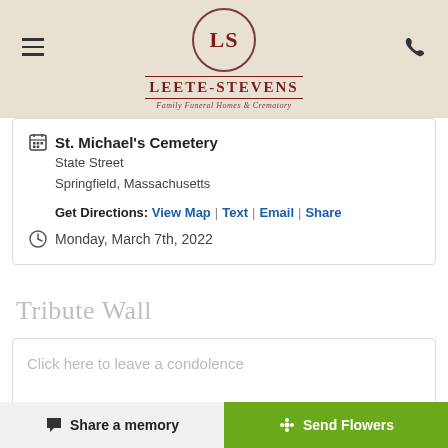LS Leete-Stevens Family Funeral Homes & Crematory
St. Michael's Cemetery
State Street
Springfield, Massachusetts
Get Directions: View Map | Text | Email | Share
Monday, March 7th, 2022
Tribute Wall
Click here to leave a condolence
Share a memory | Send Flowers